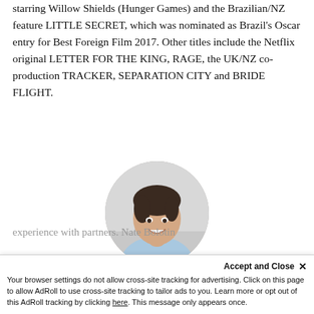starring Willow Shields (Hunger Games) and the Brazilian/NZ feature LITTLE SECRET, which was nominated as Brazil's Oscar entry for Best Foreign Film 2017. Other titles include the Netflix original LETTER FOR THE KING, RAGE, the UK/NZ co-production TRACKER, SEPARATION CITY and BRIDE FLIGHT.
[Figure (photo): Circular profile photo of a young man with dark hair, smiling, wearing a light blue shirt, against a light background.]
Nick Spicer
experience with partners. Nate Bolotin
Accept and Close ×
Your browser settings do not allow cross-site tracking for advertising. Click on this page to allow AdRoll to use cross-site tracking to tailor ads to you. Learn more or opt out of this AdRoll tracking by clicking here. This message only appears once.